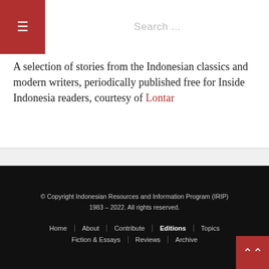≡  Search ...
A selection of stories from the Indonesian classics and modern writers, periodically published free for Inside Indonesia readers, courtesy of Lontar
© Copyright Indonesian Resources and Information Program (IRIP) 1983 – 2022. All rights reserved.
Home | About | Contribute | Editions | Topics | Fiction & Essays | Reviews | Archive